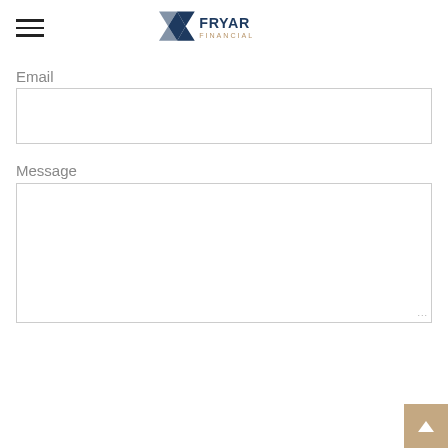Fryar Financial logo with hamburger menu
Email
Message
SUBMIT